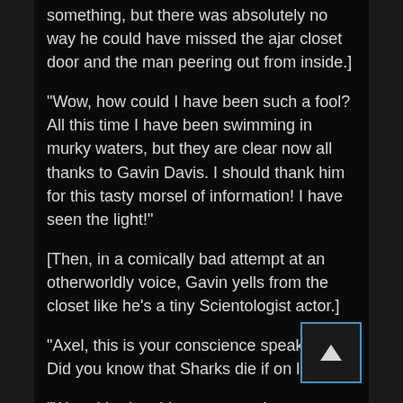something, but there was absolutely no way he could have missed the ajar closet door and the man peering out from inside.]
“Wow, how could I have been such a fool? All this time I have been swimming in murky waters, but they are clear now all thanks to Gavin Davis. I should thank him for this tasty morsel of information! I have seen the light!”
[Then, in a comically bad attempt at an otherworldly voice, Gavin yells from the closet like he’s a tiny Scientologist actor.]
“Axel, this is your conscience speaking! Did you know that Sharks die if on land?”
“Wow, I had no idea my conscience was so smart! This is amazing, tell me more!”
[Axel slowly backs up towards the closet that